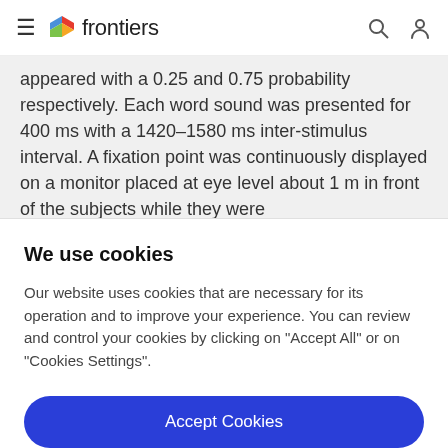frontiers
appeared with a 0.25 and 0.75 probability respectively. Each word sound was presented for 400 ms with a 1420–1580 ms inter-stimulus interval. A fixation point was continuously displayed on a monitor placed at eye level about 1 m in front of the subjects while they were
We use cookies
Our website uses cookies that are necessary for its operation and to improve your experience. You can review and control your cookies by clicking on "Accept All" or on "Cookies Settings".
Accept Cookies
Cookies Settings